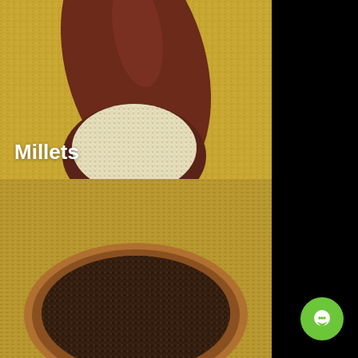[Figure (photo): Top half: overhead view of a wooden spoon filled with small pale yellow millet grains, surrounded by more millet grains on a textured golden background. The word 'Millets' is overlaid in white bold text at the lower left. Bottom half: a round wooden bowl filled with dark brown/black millet or mustard seeds, with more grains scattered on a golden background.]
Millets